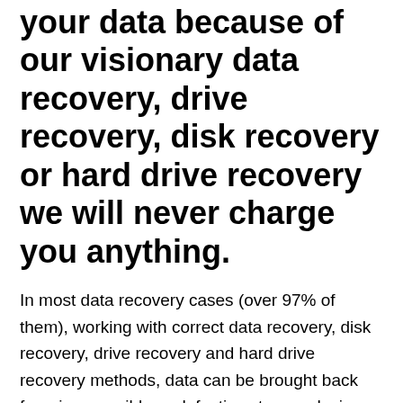your data because of our visionary data recovery, drive recovery, disk recovery or hard drive recovery we will never charge you anything.
In most data recovery cases (over 97% of them), working with correct data recovery, disk recovery, drive recovery and hard drive recovery methods, data can be brought back from inaccessible or defective storage devices. A desperate action to treat a data loss situation can often compound the trouble, with a serious possibility for causing permanent data loss to your hard drive inside Balfour, North Dakota.
All RTS data recovery, disk recovery, drive recovery and hard drive recovery jobs are remedied on an urgent basis inside Balfour, North Dakota by RTS Data Recovery. Data recovery inside Balfour, North Dakota, with a lot of cases, requires below 24 hours to do. Our High Success Rate means we average an